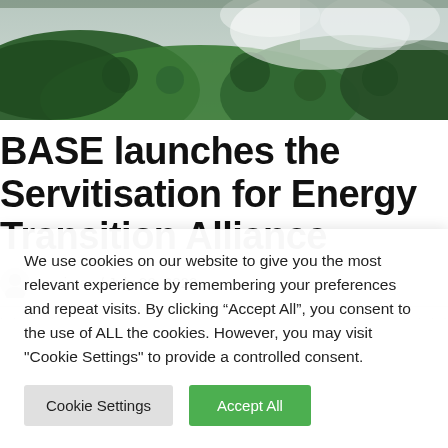[Figure (photo): Aerial or close-up photo of green moss/vegetation with white mist or water spray, partially cropped at top of page.]
BASE launches the Servitisation for Energy Transition Alliance
marimac / July 26, 2022
We use cookies on our website to give you the most relevant experience by remembering your preferences and repeat visits. By clicking “Accept All”, you consent to the use of ALL the cookies. However, you may visit "Cookie Settings" to provide a controlled consent.